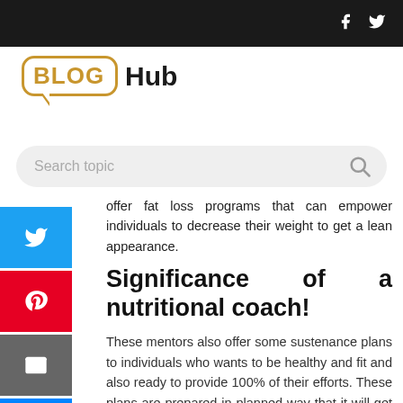BLOG Hub — navigation bar with Facebook and Twitter icons
[Figure (logo): BlogHub logo: speech bubble outline in gold containing bold 'BLOG' text, followed by bold 'Hub' text in dark]
Search topic
offer fat loss programs that can empower individuals to decrease their weight to get a lean appearance.
Significance of a nutritional coach!
These mentors also offer some sustenance plans to individuals who wants to be healthy and fit and also ready to provide 100% of their efforts. These plans are prepared in planned way that it will get lots of benefits to the person